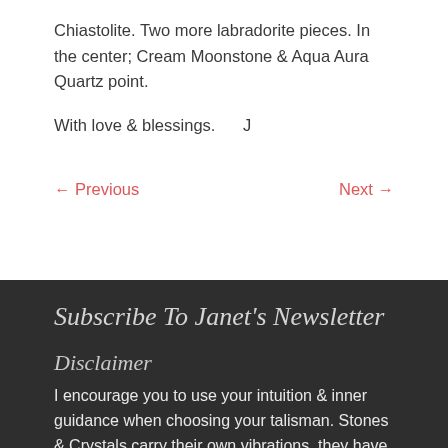Chiastolite. Two more labradorite pieces. In the center; Cream Moonstone & Aqua Aura Quartz point.
With love & blessings.      J
← Previous
Next →
Subscribe To Janet's Newsletter
Disclaimer
I encourage you to use your intuition & inner guidance when choosing your talisman. Stones & Crystals carry their own vibrations, they have many & varied wonderful properties & healing